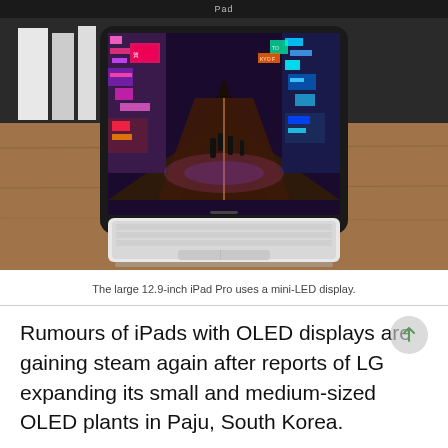Pad
[Figure (photo): iPad Pro with Magic Keyboard displaying a neon-lit city street scene (Tokyo-style) on its screen, placed on a wooden surface with books in the background]
The large 12.9-inch iPad Pro uses a mini-LED display.
Rumours of iPads with OLED displays are gaining steam again after reports of LG expanding its small and medium-sized OLED plants in Paju, South Korea.